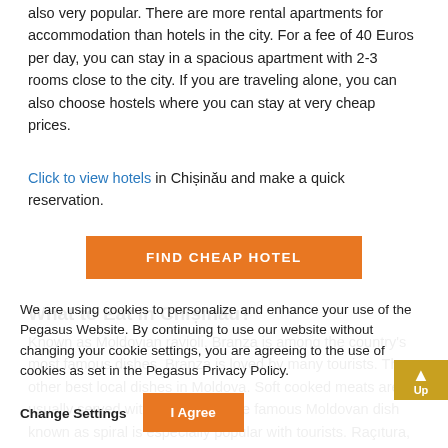also very popular. There are more rental apartments for accommodation than hotels in the city. For a fee of 40 Euros per day, you can stay in a spacious apartment with 2-3 rooms close to the city. If you are traveling alone, you can also choose hostels where you can stay at very cheap prices.
Click to view hotels in Chișinău and make a quick reservation.
FIND CHEAP HOTEL
What to Eat in Chișinău?
Known as Moldovian ravioli, Branza is among the country's most famous dishes. Branza is loved by many tourists. The other best local dishes in Moldova. Soft cooked meats are usually served with mamaliga. The famous Moldovan dish known as spiral is especially popular with tourists. Racıtura, Placenta Cake and Borș stand out among the other tastes that should be tasted in Moldovan cuisine.
We are using cookies to personalize and enhance your use of the Pegasus Website. By continuing to use our website without changing your cookie settings, you are agreeing to the use of cookies as set in the Pegasus Privacy Policy.
Change Settings
I Agree